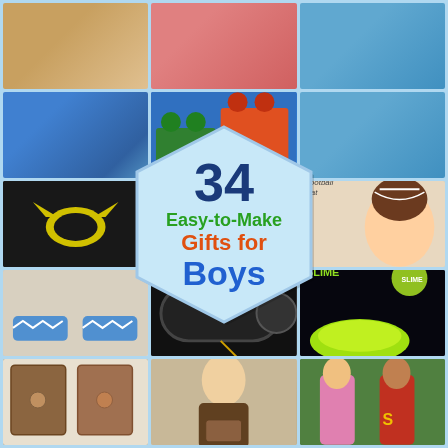[Figure (illustration): Collage of 12+ photos showing DIY gifts for boys including Batman sweater, slime, football hat, wallets, superhero capes, chevron slippers, toy roll-up mat, and other crafts. Central hexagon badge reads '34 Easy-to-Make Gifts for Boys'.]